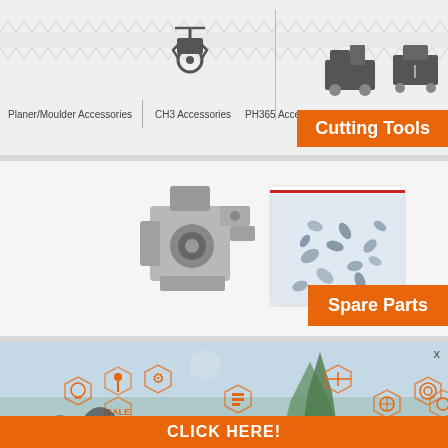[Figure (illustration): Cutting tools section with saw blade background, planer/moulder icon, CH3 accessories icon, PH365 accessories icon, and orange 'Cutting Tools' badge]
Planer/Moulder Accessories
CH3 Accessories
PH365 Accessories
Cutting Tools
[Figure (photo): Spare parts section showing a carburetor and a bag of metal parts/bolts with orange 'Spare Parts' badge]
Spare Parts
[Figure (infographic): Bottom banner with hexagon icon pattern (orange icons on light blue), people outdoors, and 'CLICK HERE' orange bar at bottom with X close button]